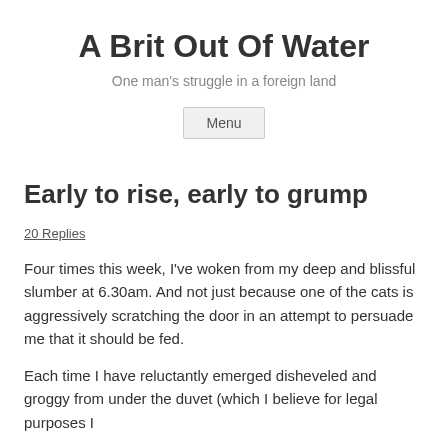A Brit Out Of Water
One man's struggle in a foreign land
Menu
Early to rise, early to grump
20 Replies
Four times this week, I've woken from my deep and blissful slumber at 6.30am. And not just because one of the cats is aggressively scratching the door in an attempt to persuade me that it should be fed.
Each time I have reluctantly emerged disheveled and groggy from under the duvet (which I believe for legal purposes I